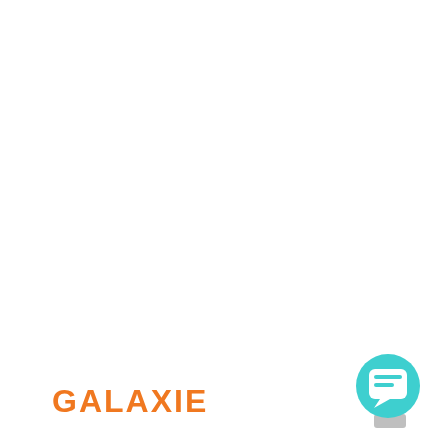GALAXIE
[Figure (logo): Teal circular chat bubble icon with white speech bubble symbol inside, positioned bottom-right with a gray shadow element beneath it]